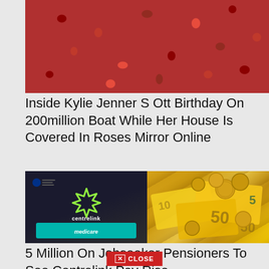[Figure (photo): Close-up photo of red rose petals covering the frame]
Inside Kylie Jenner S Ott Birthday On 200million Boat While Her House Is Covered In Roses Mirror Online
[Figure (photo): Two side-by-side photos: left shows a Centrelink and Medicare sign board; right shows Australian currency coins and banknotes]
5 Million On Jobseeker Pensioners To See Centrelink Pay Rise
✕ CLOSE